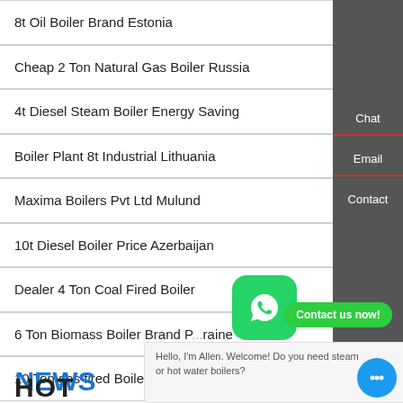8t Oil Boiler Brand Estonia
Cheap 2 Ton Natural Gas Boiler Russia
4t Diesel Steam Boiler Energy Saving
Boiler Plant 8t Industrial Lithuania
Maxima Boilers Pvt Ltd Mulund
10t Diesel Boiler Price Azerbaijan
Dealer 4 Ton Coal Fired Boiler
6 Ton Biomass Boiler Brand P... raine
10 Ton gas fired Boiler Agent Belarus
HOT NEWS
[Figure (screenshot): Sidebar with Chat, Email, Contact buttons on dark gray background]
[Figure (screenshot): WhatsApp icon overlay with green Contact us now! button and chat bubble saying Hello, I'm Allen. Welcome! Do you need steam or hot water boilers?]